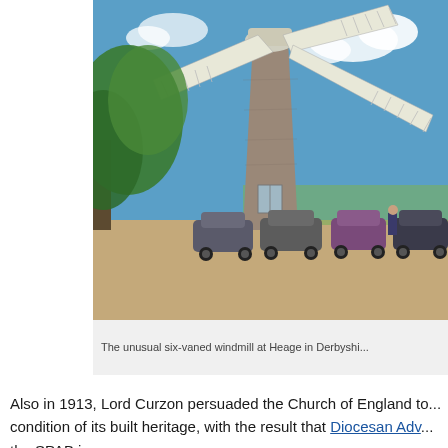[Figure (photo): Photograph of the unusual six-vaned windmill at Heage in Derbyshire. Several classic vintage cars are parked in front of the stone windmill tower, with its large white sails/vanes visible against a blue sky with clouds. Green trees are visible on the left, and green fields in the background.]
The unusual six-vaned windmill at Heage in Derbyshi...
Also in 1913, Lord Curzon persuaded the Church of England to... condition of its built heritage, with the result that Diocesan Adv... the SPAB is...